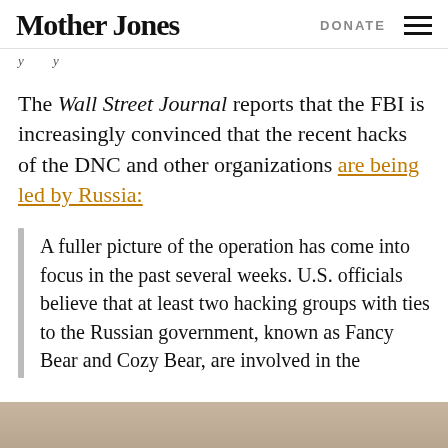Mother Jones | DONATE
The Wall Street Journal reports that the FBI is increasingly convinced that the recent hacks of the DNC and other organizations are being led by Russia:
A fuller picture of the operation has come into focus in the past several weeks. U.S. officials believe that at least two hacking groups with ties to the Russian government, known as Fancy Bear and Cozy Bear, are involved in the
[Figure (photo): Partial view of a photo at the bottom of the page]